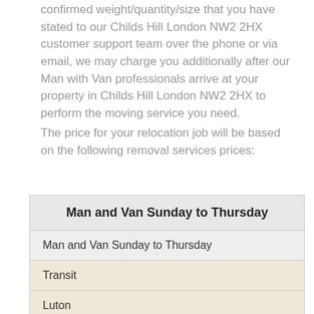confirmed weight/quantity/size that you have stated to our Childs Hill London NW2 2HX customer support team over the phone or via email, we may charge you additionally after our Man with Van professionals arrive at your property in Childs Hill London NW2 2HX to perform the moving service you need.
The price for your relocation job will be based on the following removal services prices:
| Man and Van Sunday to Thursday |
| --- |
| Man and Van Sunday to Thursday |
| Transit |
| Luton |
| Lorry |